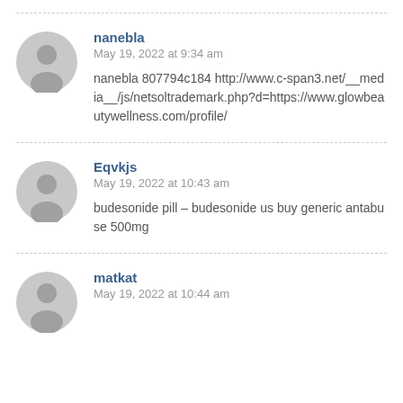nanebla
May 19, 2022 at 9:34 am
nanebla 807794c184 http://www.c-span3.net/__media__/js/netsoltrademark.php?d=https://www.glowbeautywellness.com/profile/
Eqvkjs
May 19, 2022 at 10:43 am
budesonide pill – budesonide us buy generic antabuse 500mg
matkat
May 19, 2022 at 10:44 am